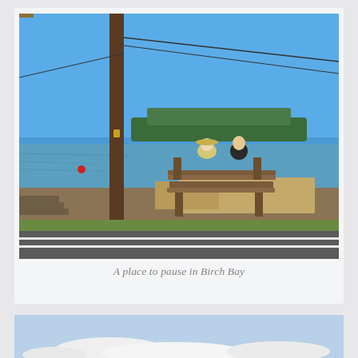[Figure (photo): Two people sitting on a wooden bench facing the water at Birch Bay. A tall utility pole is prominent in the foreground left. The water is calm blue, with a tree-lined peninsula visible in the background. Dry grass and a road are visible in the middle ground.]
A place to pause in Birch Bay
[Figure (photo): Partial view of a light blue sky with clouds near the horizon, bottom portion of second photo card visible.]